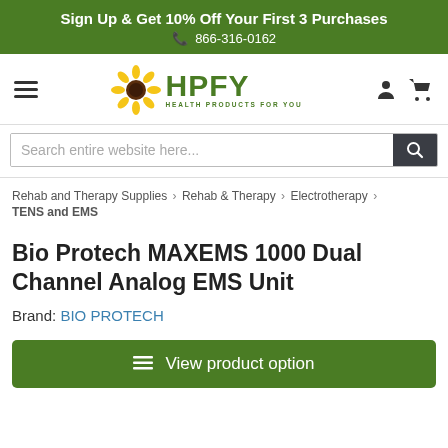Sign Up & Get 10% Off Your First 3 Purchases
☎ 866-316-0162
[Figure (logo): HPFY Health Products For You logo with sunflower]
Search entire website here...
Rehab and Therapy Supplies > Rehab & Therapy > Electrotherapy > TENS and EMS
Bio Protech MAXEMS 1000 Dual Channel Analog EMS Unit
Brand: BIO PROTECH
View product option